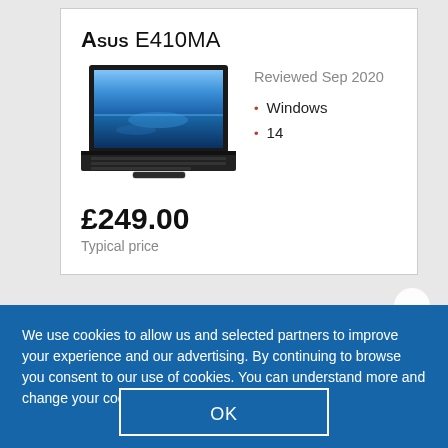Asus E410MA
[Figure (photo): Laptop computer (Asus E410MA) with blue ocean desktop wallpaper on screen, dark chassis with keyboard visible]
Reviewed Sep 2020
Windows
14
£249.00
Typical price
We use cookies to allow us and selected partners to improve your experience and our advertising. By continuing to browse you consent to our use of cookies. You can understand more and change your cookies preferences here.
OK